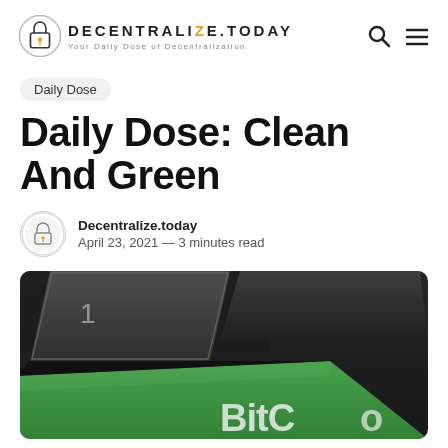DECENTRALIZE.TODAY — Your Daily Dose of Decentralization
Daily Dose
Daily Dose: Clean And Green
Decentralize.today
April 23, 2021 — 3 minutes read
[Figure (photo): Close-up photograph of keyboard keys, one dark grey key with number 1, and a bright green key partially showing text 'BitC' (Bitcoin), on a dark background]